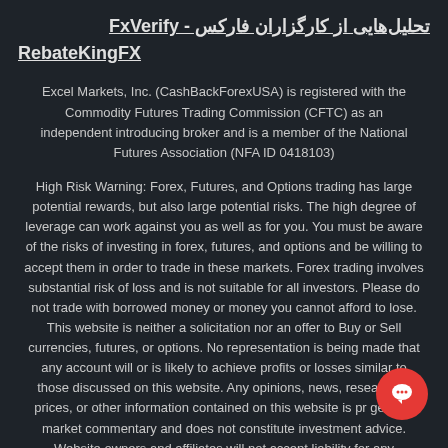تحلیل‌هایی از کارگزاران فارکس - FxVerify
RebateKingFX
Excel Markets, Inc. (CashBackForexUSA) is registered with the Commodity Futures Trading Commission (CFTC) as an independent introducing broker and is a member of the National Futures Association (NFA ID 0418103)
High Risk Warning: Forex, Futures, and Options trading has large potential rewards, but also large potential risks. The high degree of leverage can work against you as well as for you. You must be aware of the risks of investing in forex, futures, and options and be willing to accept them in order to trade in these markets. Forex trading involves substantial risk of loss and is not suitable for all investors. Please do not trade with borrowed money or money you cannot afford to lose. This website is neither a solicitation nor an offer to Buy or Sell currencies, futures, or options. No representation is being made that any account will or is likely to achieve profits or losses similar to those discussed on this website. Any opinions, news, research, a prices, or other information contained on this website is pr general market commentary and does not constitute investment advice. Website owners and affiliates will not accept liability for any